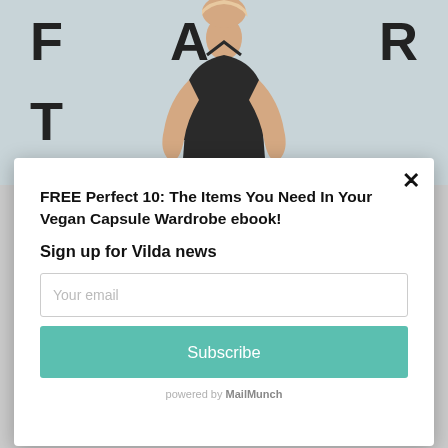[Figure (photo): Fashion model wearing a black halter top on a runway, with large letters F A R T R in the background]
×
FREE Perfect 10: The Items You Need In Your Vegan Capsule Wardrobe ebook!
Sign up for Vilda news
Your email
Subscribe
powered by MailMunch